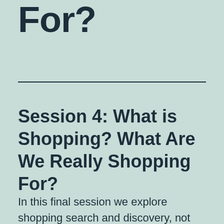Shopping For?
Session 4: What is Shopping? What Are We Really Shopping For?
In this final session we explore shopping search and discovery, not necessarily rela…